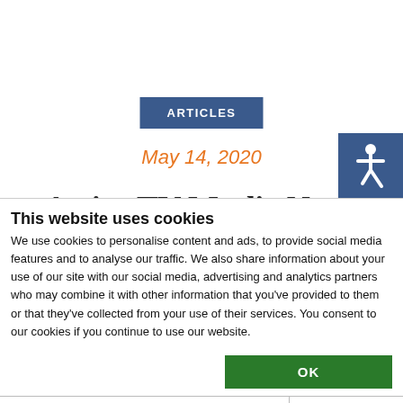ARTICLES
May 14, 2020
Active TV Media News
This website uses cookies
We use cookies to personalise content and ads, to provide social media features and to analyse our traffic. We also share information about your use of our site with our social media, advertising and analytics partners who may combine it with other information that you've provided to them or that they've collected from your use of their services. You consent to our cookies if you continue to use our website.
OK
Necessary  Preferences  Statistics  Marketing  Show details